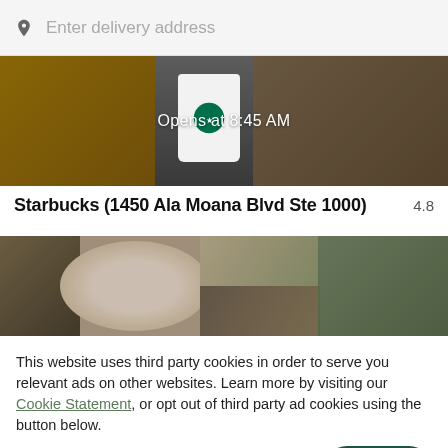Enter delivery address
[Figure (photo): Starbucks food banner image with bread, cup with logo, and pastry items. Overlay text: 'Opens at 8:45 AM']
Starbucks (1450 Ala Moana Blvd Ste 1000)
4.8
[Figure (photo): Food delivery app restaurant photo showing bowls of food with salad and vegetables]
This website uses third party cookies in order to serve you relevant ads on other websites. Learn more by visiting our Cookie Statement, or opt out of third party ad cookies using the button below.
OPT OUT
GOT IT